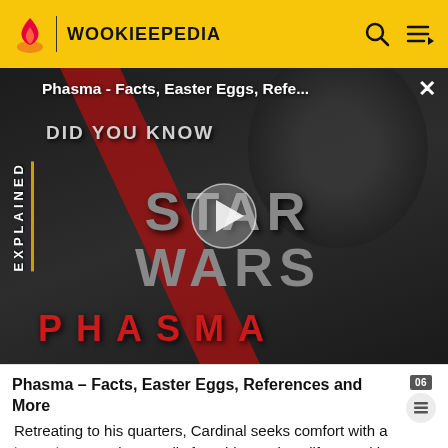WOOKIEEPEDIA
[Figure (screenshot): Wookieepedia video thumbnail showing 'Phasma - Facts, Easter Eggs, References and More' Star Wars Explained video with play button overlay, 'DID YOU KNOW', 'STAR WARS', 'PHASMA' text, and 'EXPLAINED' vertical tag]
Phasma - Facts, Easter Eggs, References and More
Retreating to his quarters, Cardinal seeks comfort with a happabore carving, a relic from his previous life on Jakku